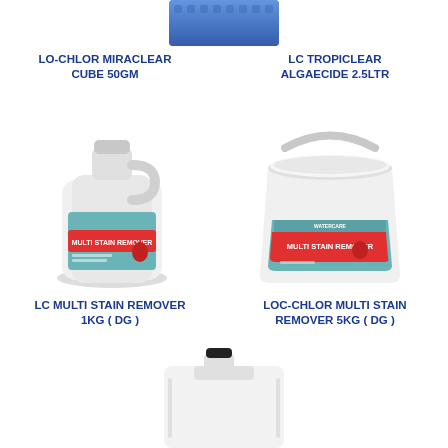[Figure (photo): Partial view of a blue pool product cube/tablet at top of page]
LO-CHLOR MIRACLEAR CUBE 50GM
LC TROPICLEAR ALGAECIDE 2.5LTR
[Figure (photo): LC Multi Stain Remover 1KG DG - white bottle with blue and red label]
[Figure (photo): Loc-Chlor Multi Stain Remover 5KG DG - white bucket with handle and blue and red label]
LC MULTI STAIN REMOVER 1KG ( DG )
LOC-CHLOR MULTI STAIN REMOVER 5KG ( DG )
[Figure (photo): Partial view of a white plastic jerry can with black cap at bottom of page]